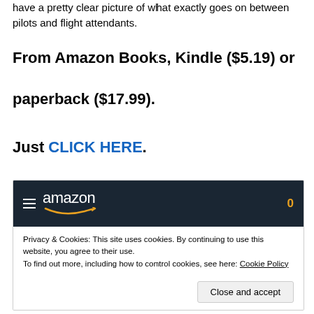have a pretty clear picture of what exactly goes on between pilots and flight attendants.
From Amazon Books, Kindle ($5.19) or paperback ($17.99).
Just CLICK HERE.
[Figure (screenshot): Amazon website header with hamburger menu, amazon logo with smile, and cart badge showing 0]
Privacy & Cookies: This site uses cookies. By continuing to use this website, you agree to their use. To find out more, including how to control cookies, see here: Cookie Policy
Close and accept